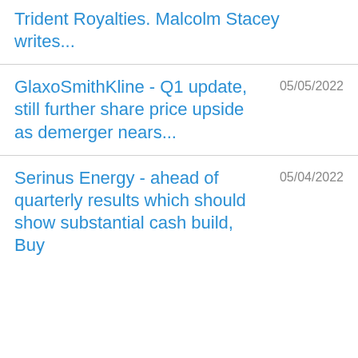Trident Royalties. Malcolm Stacey writes...
GlaxoSmithKline - Q1 update, still further share price upside as demerger nears...
Serinus Energy - ahead of quarterly results which should show substantial cash build, Buy